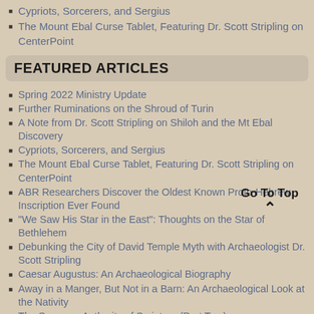Cypriots, Sorcerers, and Sergius
The Mount Ebal Curse Tablet, Featuring Dr. Scott Stripling on CenterPoint
FEATURED ARTICLES
Spring 2022 Ministry Update
Further Ruminations on the Shroud of Turin
A Note from Dr. Scott Stripling on Shiloh and the Mt Ebal Discovery
Cypriots, Sorcerers, and Sergius
The Mount Ebal Curse Tablet, Featuring Dr. Scott Stripling on CenterPoint
ABR Researchers Discover the Oldest Known Proto-Hebrew Inscription Ever Found
"We Saw His Star in the East": Thoughts on the Star of Bethlehem
Debunking the City of David Temple Myth with Archaeologist Dr. Scott Stripling
Caesar Augustus: An Archaeological Biography
Away in a Manger, But Not in a Barn: An Archaeological Look at the Nativity
The Supreme Authority of Scripture (Part Two)
Three Things in Babylon Daniel Likely Saw